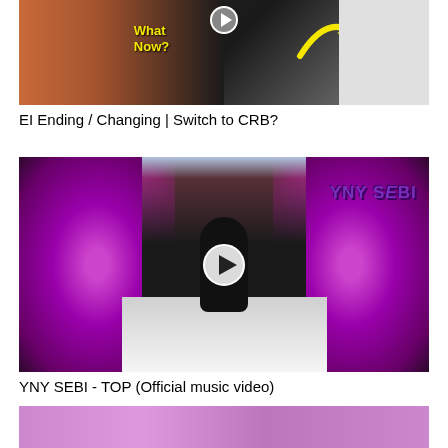[Figure (screenshot): Video thumbnail showing a man with reddish hair and beard wearing a black shirt, with yellow text 'What Now?' and a yellow arrow pointing right, and a white card being held on the right side.]
EI Ending / Changing | Switch to CRB?
[Figure (screenshot): Video thumbnail for YNY SEBI - TOP showing a hooded figure in black standing before white stairs, surrounded by vibrant purple/magenta flowering bushes, with 'YNY SEBI' text in purple 3D letters in upper right, and a play button overlay.]
YNY SEBI - TOP (Official music video)